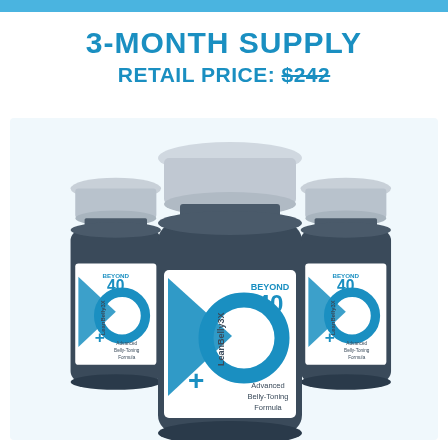3-MONTH SUPPLY
RETAIL PRICE: $242
[Figure (photo): Three dark navy supplement bottles labeled 'LeanBelly3X' by Beyond 40, Advanced Belly-Toning Formula, arranged with one in front-center and two behind on left and right sides. Each bottle has a white cap and a white label with blue branding.]